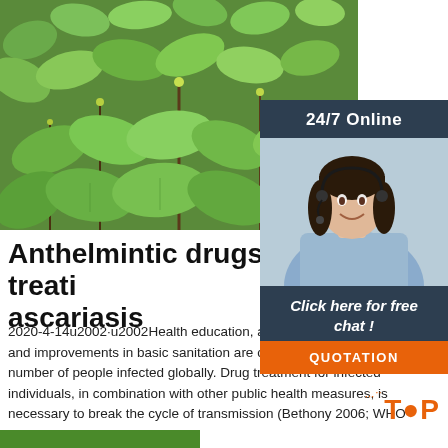[Figure (photo): Close-up photo of green succulent/plant leaves covering the top of the page]
[Figure (photo): Customer service agent / chat widget overlay with '24/7 Online' header, photo of smiling woman with headset, 'Click here for free chat!' text, and orange QUOTATION button]
Anthelmintic drugs for treating ascariasis
2020-4-14u2002·u2002Health education, access to quality water, and improvements in basic sanitation are crucial to reduce the number of people infected globally. Drug treatment for infected individuals, in combination with other public health measures, is necessary to break the cycle of transmission (Bethony 2006; WHO 2005).